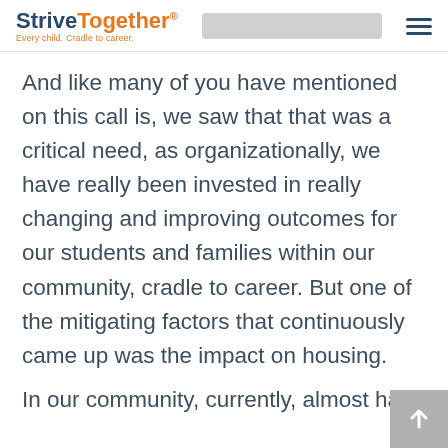StriveTogether® — Every child. Cradle to career.
And like many of you have mentioned on this call is, we saw that that was a critical need, as organizationally, we have really been invested in really changing and improving outcomes for our students and families within our community, cradle to career. But one of the mitigating factors that continuously came up was the impact on housing.
In our community, currently, almost half